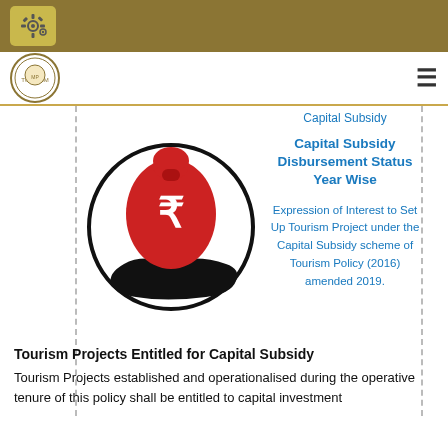[Top navigation bar with gear/settings icon and Tourism Department Madhya Pradesh logo and hamburger menu]
Capital Subsidy
Capital Subsidy Disbursement Status Year Wise
Expression of Interest to Set Up Tourism Project under the Capital Subsidy scheme of Tourism Policy (2016) amended 2019.
[Figure (illustration): Illustration of a hand holding a red money bag with a Rupee symbol, inside a circle outline]
Tourism Projects Entitled for Capital Subsidy
Tourism Projects established and operationalised during the operative tenure of this policy shall be entitled to capital investment